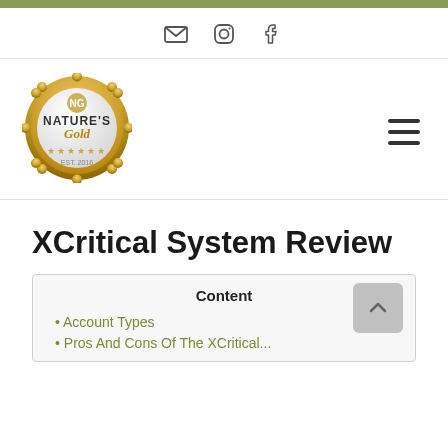Social icons: email, instagram, facebook
[Figure (logo): Nature's Gold circular badge logo with gold border and stars]
XCritical System Review
Content
Account Types
Pros And Cons Of The XCritical...